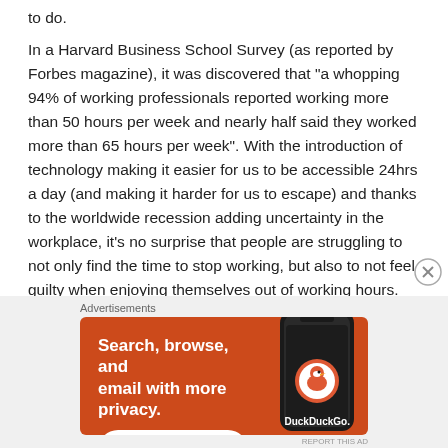to do.
In a Harvard Business School Survey (as reported by Forbes magazine), it was discovered that "a whopping 94% of working professionals reported working more than 50 hours per week and nearly half said they worked more than 65 hours per week". With the introduction of technology making it easier for us to be accessible 24hrs a day (and making it harder for us to escape) and thanks to the worldwide recession adding uncertainty in the workplace, it's no surprise that people are struggling to not only find the time to stop working, but also to not feel guilty when enjoying themselves out of working hours.
[Figure (other): DuckDuckGo advertisement banner with orange background. Text reads: 'Search, browse, and email with more privacy. All in One Free App' with a phone graphic and DuckDuckGo logo on the right.]